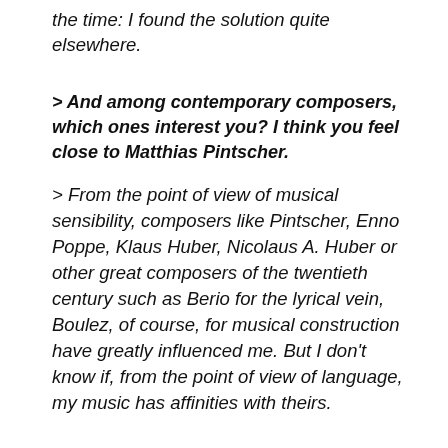the time: I found the solution quite elsewhere.
> And among contemporary composers, which ones interest you? I think you feel close to Matthias Pintscher.
> From the point of view of musical sensibility, composers like Pintscher, Enno Poppe, Klaus Huber, Nicolaus A. Huber or other great composers of the twentieth century such as Berio for the lyrical vein, Boulez, of course, for musical construction have greatly influenced me. But I don't know if, from the point of view of language, my music has affinities with theirs.